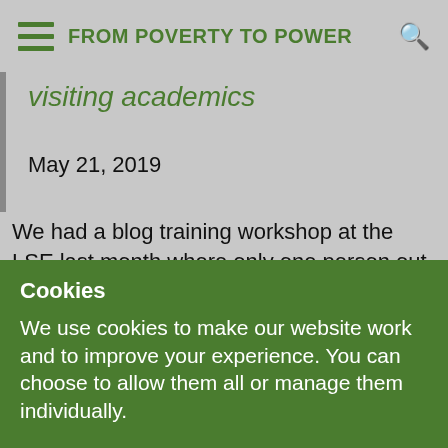FROM POVERTY TO POWER
visiting academics
May 21, 2019
We had a blog training workshop at the LSE last month where only one person out of 25 expected showed up. No, it wasn't because they'd heard how boring I am, it was because
Cookies
We use cookies to make our website work and to improve your experience. You can choose to allow them all or manage them individually.